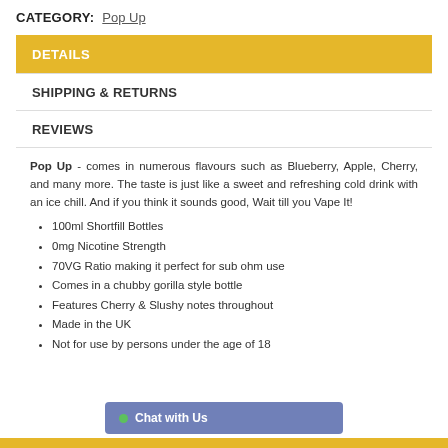CATEGORY: Pop Up
DETAILS
SHIPPING & RETURNS
REVIEWS
Pop Up - comes in numerous flavours such as Blueberry, Apple, Cherry, and many more. The taste is just like a sweet and refreshing cold drink with an ice chill. And if you think it sounds good, Wait till you Vape It!
100ml Shortfill Bottles
0mg Nicotine Strength
70VG Ratio making it perfect for sub ohm use
Comes in a chubby gorilla style bottle
Features Cherry & Slushy notes throughout
Made in the UK
Not for use by persons under the age of 18
Chat with Us